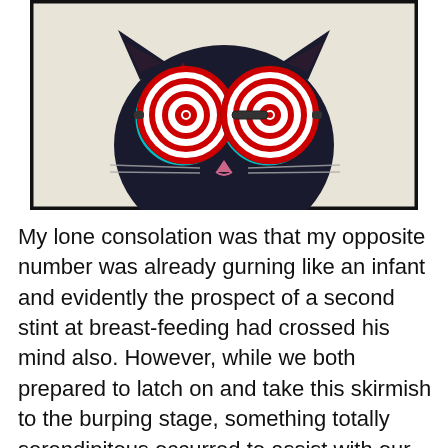[Figure (photo): A stylized 3D anaglyph-effect photo of a cat wearing large round hypnotic spiral glasses (red and white concentric spirals), with cyan/red chromatic aberration effect, on a light beige background, framed by a thick black border.]
My lone consolation was that my opposite number was already gurning like an infant and evidently the prospect of a second stint at breast-feeding had crossed his mind also. However, while we both prepared to latch on and take this skirmish to the burping stage, something totally serendipitous occurred to assist with our